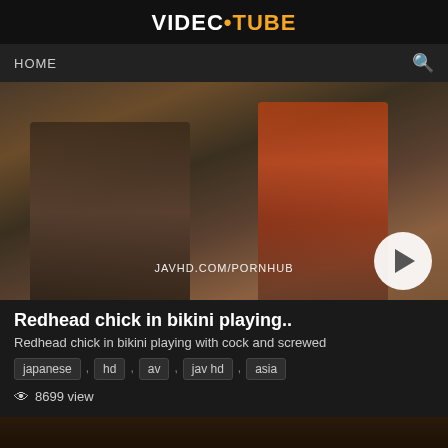VIDEC•TUBE
HOME
[Figure (screenshot): Video thumbnail showing two figures, watermark JAVHD.COM/PORNHUB, play button overlay]
Redhead chick in bikini playing..
Redhead chick in bikini playing with cock and screwed
japanese , hd , av , jav hd , asia
8699 view
[Figure (screenshot): Second video thumbnail with duration 12:05]